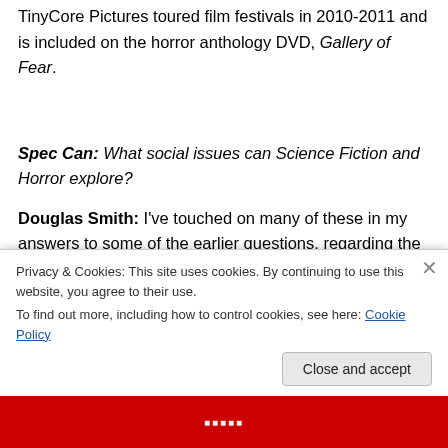TinyCore Pictures toured film festivals in 2010-2011 and is included on the horror anthology DVD, Gallery of Fear.
Spec Can: What social issues can Science Fiction and Horror explore?
Douglas Smith: I've touched on many of these in my answers to some of the earlier questions, regarding the power of SF and Canadian themes, so I'll give a short
Privacy & Cookies: This site uses cookies. By continuing to use this website, you agree to their use.
To find out more, including how to control cookies, see here: Cookie Policy